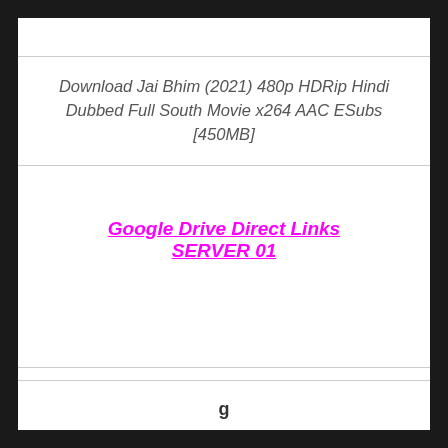Download Jai Bhim (2021) 480p HDRip Hindi Dubbed Full South Movie x264 AAC ESubs [450MB]
Google Drive Direct Links
SERVER 01
g